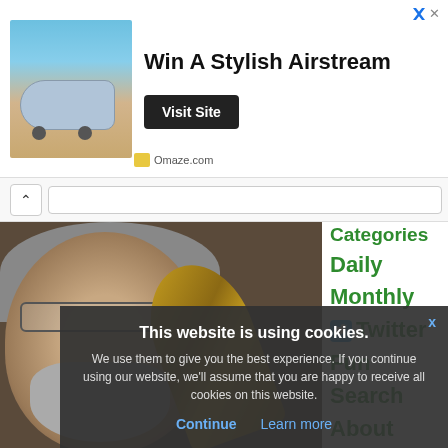[Figure (screenshot): Advertisement banner for Omaze.com: photo of Airstream trailer on beach, headline 'Win A Stylish Airstream', Visit Site button, close button top right, Omaze.com source label]
[Figure (photo): Bearded man with glasses holding a curved brass/gold object, photographed close-up against dark background]
Categories
Daily
Monthly
Twitter
Fun
Search
About
This website is using cookies.
We use them to give you the best experience. If you continue using our website, we'll assume that you are happy to receive all cookies on this website.
Continue   Learn more